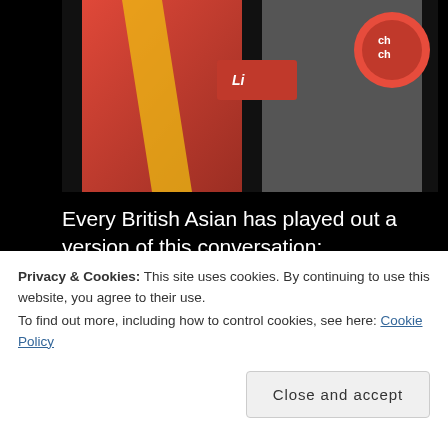[Figure (photo): A photo of people posing at what appears to be a brand event. One person is wearing a red and yellow sports jersey, another is in a grey blazer and white shirt. A red circular logo is visible on the right side.]
Every British Asian has played out a version of this conversation:
‘Where are you from?’
‘Brighton.’
Privacy & Cookies: This site uses cookies. By continuing to use this website, you agree to their use.
To find out more, including how to control cookies, see here: Cookie Policy